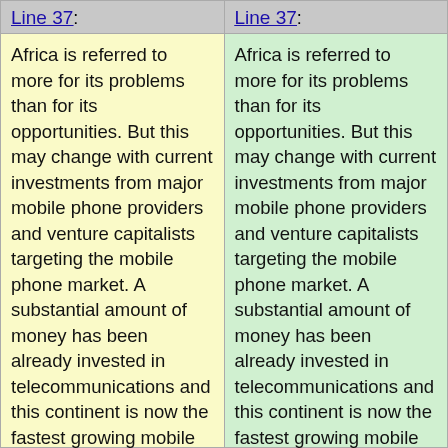Line 37:
Line 37:
Africa is referred to more for its problems than for its opportunities. But this may change with current investments from major mobile phone providers and venture capitalists targeting the mobile phone market. A substantial amount of money has been already invested in telecommunications and this continent is now the fastest growing mobile phone market in the world. Mobile phone subscribers have raised to more than 200 millions in Africa in 2006 - the fastest growing rate in
Africa is referred to more for its problems than for its opportunities. But this may change with current investments from major mobile phone providers and venture capitalists targeting the mobile phone market. A substantial amount of money has been already invested in telecommunications and this continent is now the fastest growing mobile phone market in the world. Mobile phone subscribers have risen to more than 200 millions in Africa in 2006 - the fastest growing rate in